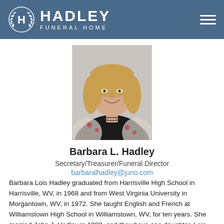HADLEY FUNERAL HOME
[Figure (photo): Headshot photo of Barbara L. Hadley, a woman with blonde shoulder-length hair, smiling, wearing a floral blazer]
Barbara L. Hadley
Secretary/Treasurer/Funeral Director
barbaralhadley@juno.com
Barbara Lois Hadley graduated from Harrisville High School in Harrisville, WV, in 1968 and from West Virginia University in Morgantown, WV, in 1972. She taught English and French at Williamstown High School in Williamstown, WV, for ten years. She married John J. Hadley in 1980, and they have one daughter, Lois Virginia Hadley, a 2005 graduate of The Ohio State University. Lois works for The Limited Brands located in Reynoldburg, OH as a financial anacyst. Barbara is a licensed funeral director in The State